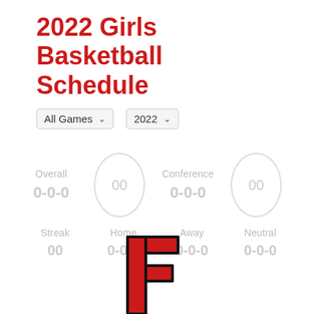2022 Girls Basketball Schedule
All Games  2022
Overall
0-0-0
00
Conference
0-0-0
00
Streak
00
Home
0-0-0
Away
0-0-0
Neutral
0-0-0
[Figure (logo): Red stylized letter F logo with black outline]